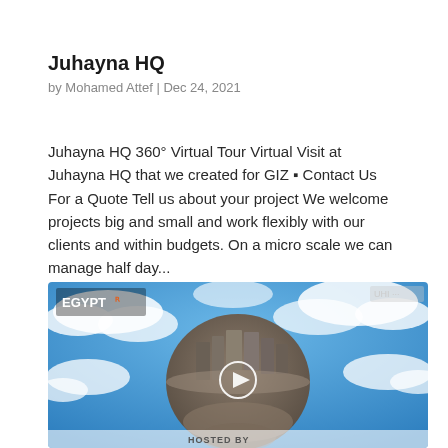Juhayna HQ
by Mohamed Attef | Dec 24, 2021
Juhayna HQ 360° Virtual Tour Virtual Visit at Juhayna HQ that we created for GIZ ▪ Contact Us For a Quote Tell us about your project We welcome projects big and small and work flexibly with our clients and within budgets. On a micro scale we can manage half day...
[Figure (photo): 360° virtual tour video thumbnail showing a tiny planet aerial view of Juhayna HQ building surrounded by blue sky and clouds, with an EgyptR logo in the top-left corner, a play button in the center, and 'HOSTED BY' text at the bottom.]